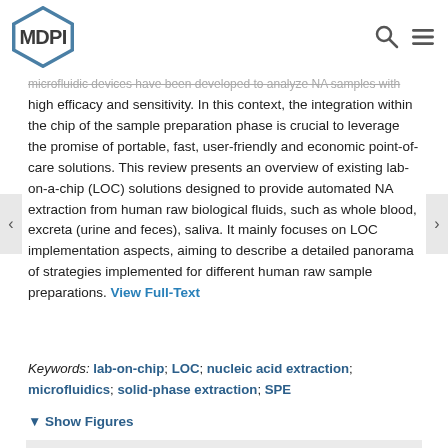MDPI
microfluidic devices have been developed to analyze NA samples with high efficacy and sensitivity. In this context, the integration within the chip of the sample preparation phase is crucial to leverage the promise of portable, fast, user-friendly and economic point-of-care solutions. This review presents an overview of existing lab-on-a-chip (LOC) solutions designed to provide automated NA extraction from human raw biological fluids, such as whole blood, excreta (urine and feces), saliva. It mainly focuses on LOC implementation aspects, aiming to describe a detailed panorama of strategies implemented for different human raw sample preparations. View Full-Text
Keywords: lab-on-chip; LOC; nucleic acid extraction; microfluidics; solid-phase extraction; SPE
▼ Show Figures
[Figure (other): Gray placeholder box for figures]